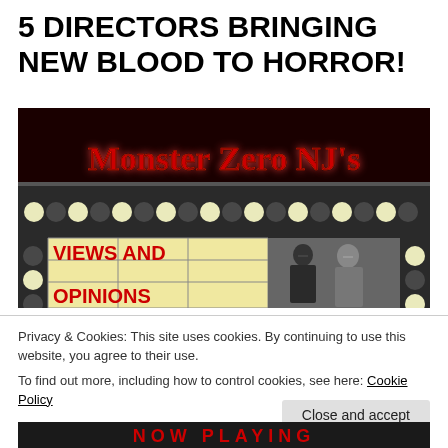5 DIRECTORS BRINGING NEW BLOOD TO HORROR!
[Figure (photo): Monster Zero NJ's banner image featuring a vintage horror-themed marquee sign with bulb lights, 'VIEWS AND OPINIONS' text in red on a yellow-cream grid background, and a black-and-white photo of two men from a classic horror film.]
Privacy & Cookies: This site uses cookies. By continuing to use this website, you agree to their use.
To find out more, including how to control cookies, see here: Cookie Policy
Close and accept
[Figure (photo): Bottom strip showing 'NOW PLAYING' text in red letters on a dark background.]